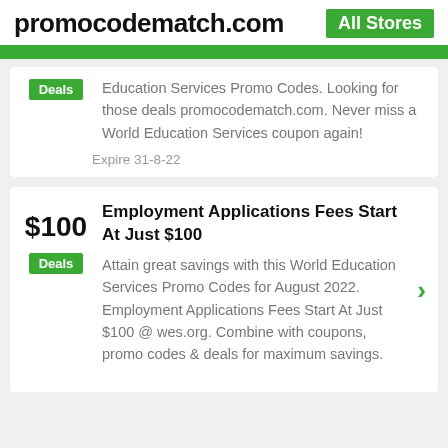promocodematch.com | All Stores
Education Services Promo Codes. Looking for those deals promocodematch.com. Never miss a World Education Services coupon again!
Expire 31-8-22
Employment Applications Fees Start At Just $100
Attain great savings with this World Education Services Promo Codes for August 2022. Employment Applications Fees Start At Just $100 @ wes.org. Combine with coupons, promo codes & deals for maximum savings.